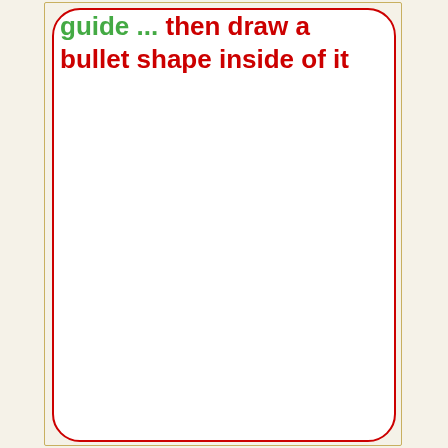guide ... then draw a bullet shape inside of it
[Figure (illustration): A large rounded rectangle outline drawn in red, representing a bullet shape template guide on a white background with a tan/gold outer border guide line.]